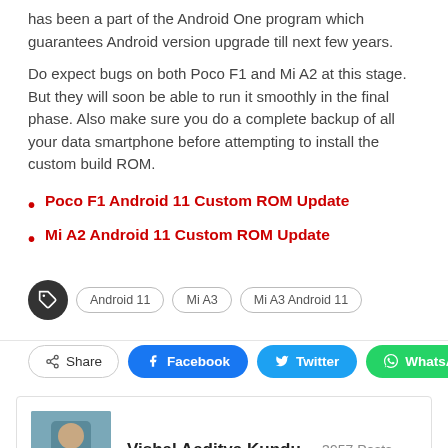has been a part of the Android One program which guarantees Android version upgrade till next few years.
Do expect bugs on both Poco F1 and Mi A2 at this stage. But they will soon be able to run it smoothly in the final phase. Also make sure you do a complete backup of all your data smartphone before attempting to install the custom build ROM.
Poco F1 Android 11 Custom ROM Update
Mi A2 Android 11 Custom ROM Update
Tags: Android 11, Mi A3, Mi A3 Android 11
Share | Facebook | Twitter | WhatsApp
Vishal Aaditya Kundu - 3957 Posts